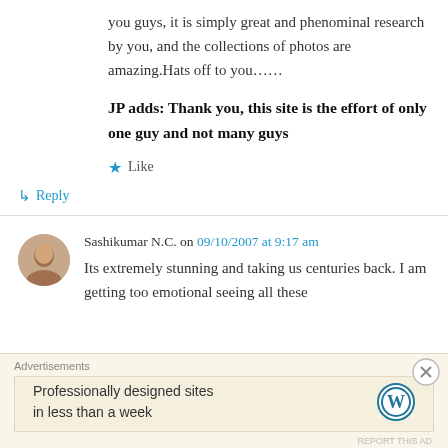you guys, it is simply great and phenominal research by you, and the collections of photos are amazing.Hats off to you……
JP adds: Thank you, this site is the effort of only one guy and not many guys
★ Like
↳ Reply
Sashikumar N.C. on 09/10/2007 at 9:17 am
Its extremely stunning and taking us centuries back. I am getting too emotional seeing all these
Advertisements
Professionally designed sites in less than a week